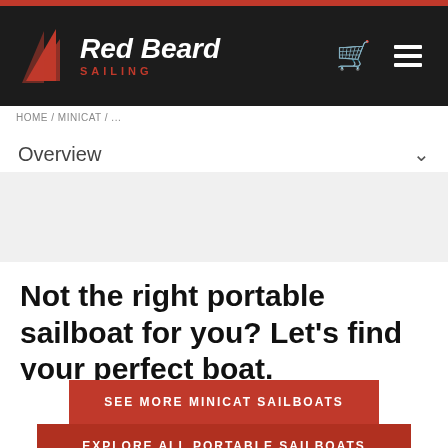Red Beard Sailing
HOME / MINICAT / ...
Overview
Not the right portable sailboat for you? Let's find your perfect boat.
SEE MORE MINICAT SAILBOATS
EXPLORE ALL PORTABLE SAILBOATS